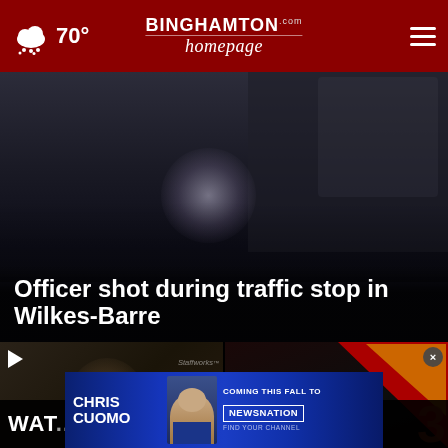70° — Binghamtonhomepage.com
[Figure (screenshot): Dark nighttime image of a police traffic stop scene, with a blurry circular light flare visible]
Officer shot during traffic stop in Wilkes-Barre
[Figure (photo): Interview video thumbnail with play button, Staffworks logo visible in background]
[Figure (screenshot): Storm 3 news broadcast thumbnail with red diagonal slash graphic and large number 3, close X button visible]
WAT...
Flood Watch in
[Figure (other): Chris Cuomo Coming This Fall to NewsNation advertisement banner with photo of Chris Cuomo]